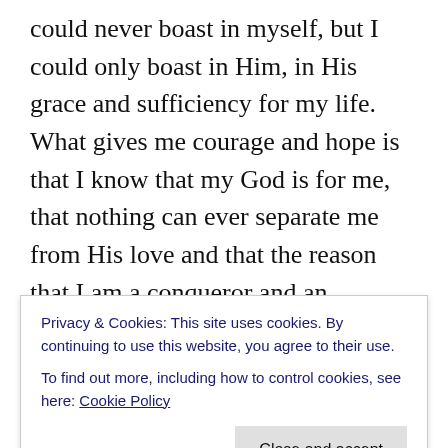could never boast in myself, but I could only boast in Him, in His grace and sufficiency for my life. What gives me courage and hope is that I know that my God is for me, that nothing can ever separate me from His love and that the reason that I am a conqueror and an overcomer is because of the Christ that indwells me. I know that the purpose of the enemy and of satan is to destroy that life which you and I possess. Jesus tells us that in John 10:10, “The thief cometh not, but for to steal, and to kill, and to destroy: I am come that they might have life, and that they might have [it] more abundantly.” While
Privacy & Cookies: This site uses cookies. By continuing to use this website, you agree to their use. To find out more, including how to control cookies, see here: Cookie Policy
see into Him and what we are in Him. We no longer have